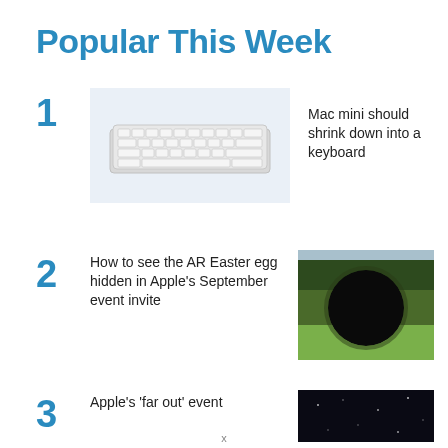Popular This Week
1
[Figure (photo): Apple Magic Keyboard on light blue background]
Mac mini should shrink down into a keyboard
2
How to see the AR Easter egg hidden in Apple's September event invite
[Figure (photo): Outdoor scene with trees and grass, large dark circular blur in center]
3
Apple's 'far out' event
[Figure (photo): Dark night sky image, partially visible]
x